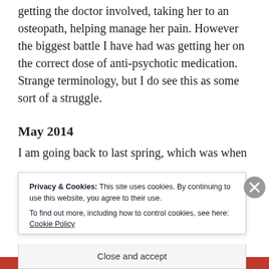getting the doctor involved, taking her to an osteopath, helping manage her pain. However the biggest battle I have had was getting her on the correct dose of anti-psychotic medication. Strange terminology, but I do see this as some sort of a struggle.
May 2014
I am going back to last spring, which was when
Privacy & Cookies: This site uses cookies. By continuing to use this website, you agree to their use.
To find out more, including how to control cookies, see here: Cookie Policy
Close and accept